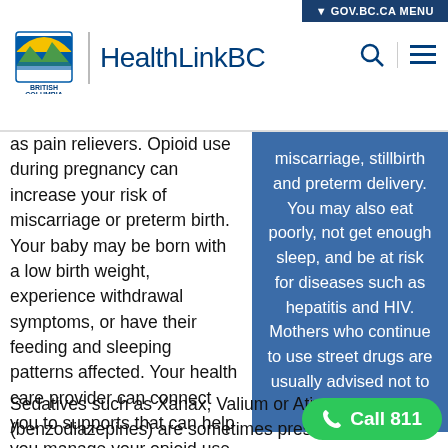GOV.BC.CA MENU | HealthLinkBC
as pain relievers. Opioid use during pregnancy can increase your risk of miscarriage or preterm birth. Your baby may be born with a low birth weight, experience withdrawal symptoms, or have their feeding and sleeping patterns affected. Your health care provider can connect you to supports that can help you manage your opioid use in the safest way for you and your baby.
miscarriage, stillbirth and preterm delivery. You may also eat poorly, not get enough sleep, and be at risk for diseases such as hepatitis and HIV. Mothers who continue to use street drugs are usually advised not to breastfeed.
Sedatives such as Xanax, Valium or Ativan (benzodiazepines) are sometimes prescribed to treat anxiety or depression, but